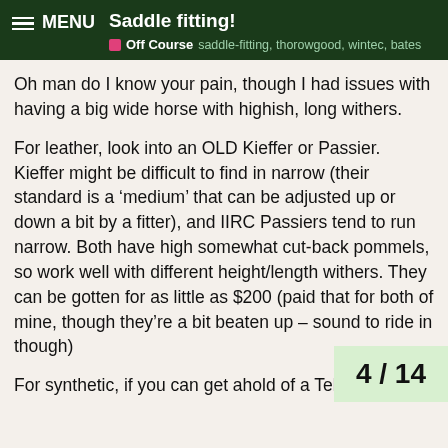Saddle fitting! | Off Course | saddle-fitting, thorowgood, wintec, bates
Oh man do I know your pain, though I had issues with having a big wide horse with highish, long withers.
For leather, look into an OLD Kieffer or Passier. Kieffer might be difficult to find in narrow (their standard is a ‘medium’ that can be adjusted up or down a bit by a fitter), and IIRC Passiers tend to run narrow. Both have high somewhat cut-back pommels, so work well with different height/length withers. They can be gotten for as little as $200 (paid that for both of mine, though they’re a bit beaten up – sound to ride in though)
For synthetic, if you can get ahold of a Tekna S to try on, try that! Similar cut-back pommel to Kieffer and Passier with the added bonus of a changeable gullet. The channel might actually be too wide though – they’re seriously wide through the channel. The great part about them is they’re a synthetic that can be hosed off to clean, but look like leather even up close. They’re also super comfy, unlike some ha listed above (though I find my Kieffer very
4 / 14